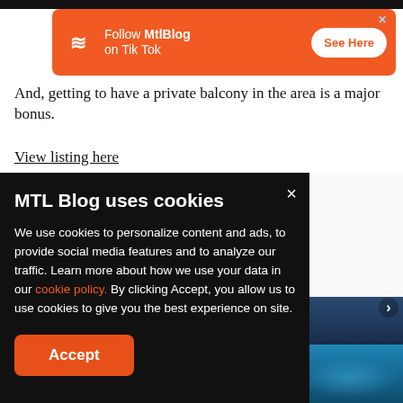[Figure (screenshot): MTL Blog TikTok follow advertisement banner with orange background, logo, and See Here button]
And, getting to have a private balcony in the area is a major bonus.
View listing here
MTL Blog uses cookies
We use cookies to personalize content and ads, to provide social media features and to analyze our traffic. Learn more about how we use your data in our cookie policy. By clicking Accept, you allow us to use cookies to give you the best experience on site.
Accept